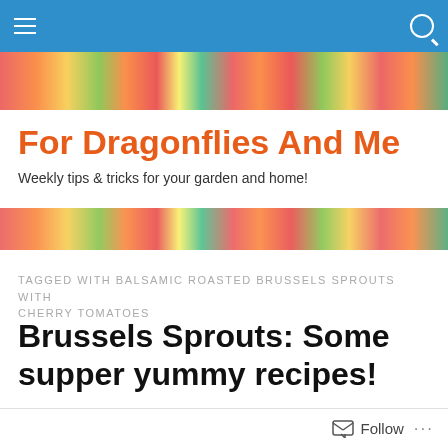For Dragonflies And Me — navigation bar
[Figure (photo): Banner photo of colorful tulips and garden flowers]
For Dragonflies And Me
Weekly tips & tricks for your garden and home!
[Figure (photo): Second banner strip of colorful garden flowers]
TAGGED WITH BALSAMIC ROASTED BRUSSELS SPROUTS WITH CHERRY TOMATOES
Brussels Sprouts: Some supper yummy recipes!
Yes we are still in the season of Fall! I don't care what the weather is doing… I don't care how much snow is on the
Follow